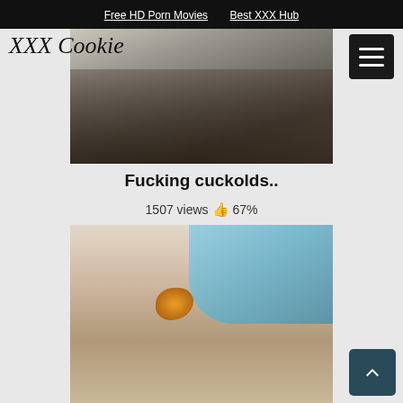Free HD Porn Movies   Best XXX Hub
XXX Cookie
[Figure (photo): Video thumbnail showing a person in dark clothing]
Fucking cuckolds..
1507 views 👍 67%
[Figure (photo): Video thumbnail showing a medical or cosmetic waxing procedure with blue gloves and orange wax]